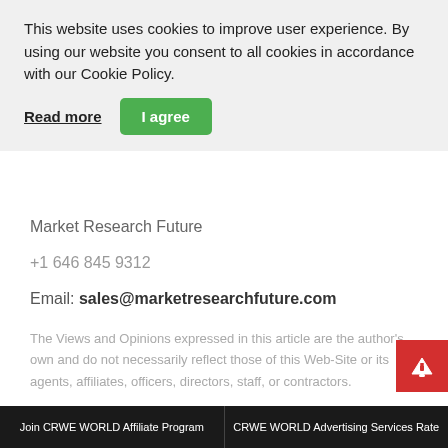This website uses cookies to improve user experience. By using our website you consent to all cookies in accordance with our Cookie Policy.
Read more | I agree
Market Research Future
+1 646 845 9312
Email: sales@marketresearchfuture.com
The Views and Opinions expressed in this article are the author's own and do not necessarily reflect those of this Web-Site or its agents, affiliates, officers, directors, staff, or contractors.
President Biden Drops By a Meeting on Reproductive Rights with State and Local Elected Officials
Join CRWE WORLD Affiliate Program | CRWE WORLD Advertising Services Rate